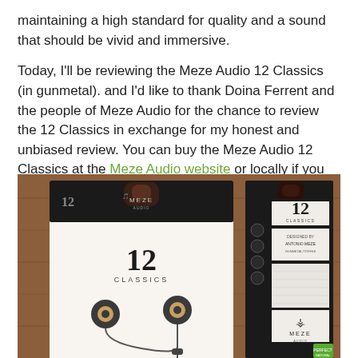maintaining a high standard for quality and a sound that should be vivid and immersive.
Today, I'll be reviewing the Meze Audio 12 Classics (in gunmetal). and I'd like to thank Doina Ferrent and the people of Meze Audio for the chance to review the 12 Classics in exchange for my honest and unbiased review. You can buy the Meze Audio 12 Classics at the Meze Audio website or locally if you have an official retailer for Meze Audio products.
[Figure (photo): Photo of Meze Audio 12 Classics earphones packaging - two views of the product box against a wooden background. Left shows the front of the box featuring the earphones and '12 CLASSICS' branding. Right shows the back/side of the box with specifications and MEZE AUDIO branding.]